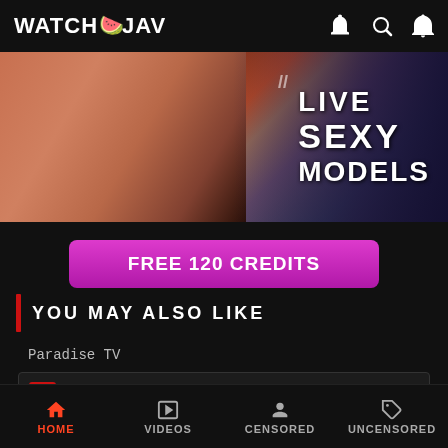WATCH JAV
[Figure (photo): Banner advertisement showing 'LIVE SEXY MODELS' text overlay on a background image]
FREE 120 CREDITS
YOU MAY ALSO LIKE
Paradise TV
HD E-137-B □□□□□□□□BEST vol.01 □□□□□□□□□□ □□□□□□□□□□□□
HOME  VIDEOS  CENSORED  UNCENSORED